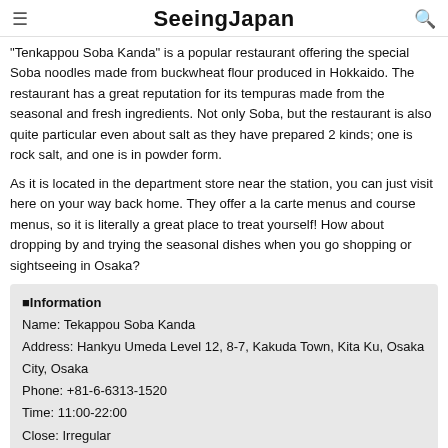SeeingJapan
"Tenkappou Soba Kanda" is a popular restaurant offering the special Soba noodles made from buckwheat flour produced in Hokkaido. The restaurant has a great reputation for its tempuras made from the seasonal and fresh ingredients. Not only Soba, but the restaurant is also quite particular even about salt as they have prepared 2 kinds; one is rock salt, and one is in powder form.
As it is located in the department store near the station, you can just visit here on your way back home. They offer a la carte menus and course menus, so it is literally a great place to treat yourself! How about dropping by and trying the seasonal dishes when you go shopping or sightseeing in Osaka?
■Information
Name: Tekappou Soba Kanda
Address: Hankyu Umeda Level 12, 8-7, Kakuda Town, Kita Ku, Osaka City, Osaka
Phone: +81-6-6313-1520
Time: 11:00-22:00
Close: Irregular
Access: Walk 2 mins from Umeda Station
Website: